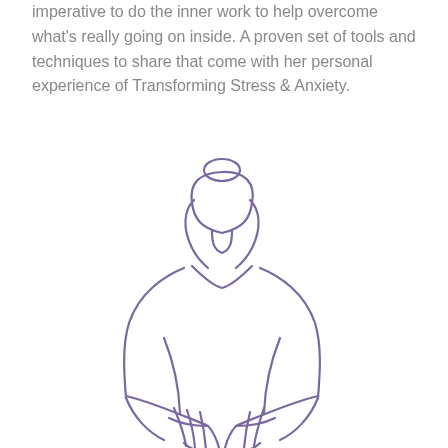imperative to do the inner work to help overcome what's really going on inside. A proven set of tools and techniques to share that come with her personal experience of Transforming Stress & Anxiety.
[Figure (illustration): Line drawing illustration of a woman in a meditation pose (namaste/prayer hands) with hair in a bun, drawn in purple/lavender outline style]